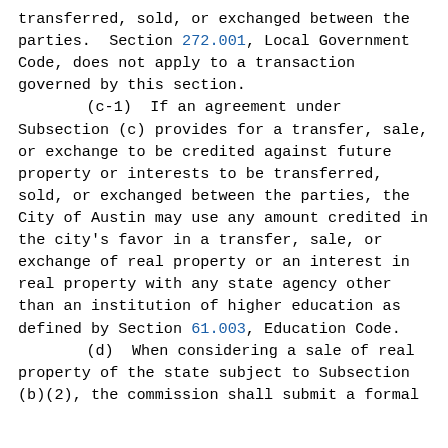transferred, sold, or exchanged between the parties.  Section 272.001, Local Government Code, does not apply to a transaction governed by this section.
        (c-1)  If an agreement under Subsection (c) provides for a transfer, sale, or exchange to be credited against future property or interests to be transferred, sold, or exchanged between the parties, the City of Austin may use any amount credited in the city's favor in a transfer, sale, or exchange of real property or an interest in real property with any state agency other than an institution of higher education as defined by Section 61.003, Education Code.
        (d)  When considering a sale of real property of the state subject to Subsection (b)(2), the commission shall submit a formal